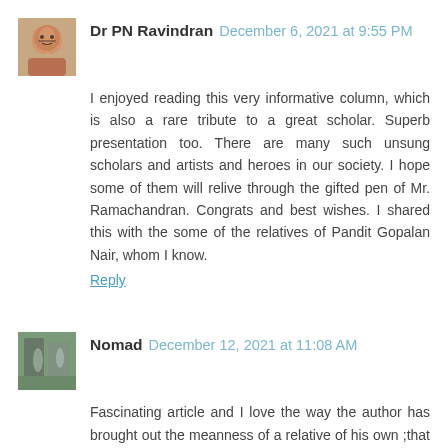Dr PN Ravindran  December 6, 2021 at 9:55 PM
I enjoyed reading this very informative column, which is also a rare tribute to a great scholar. Superb presentation too. There are many such unsung scholars and artists and heroes in our society. I hope some of them will relive through the gifted pen of Mr. Ramachandran. Congrats and best wishes. I shared this with the some of the relatives of Pandit Gopalan Nair, whom I know.
Reply
Nomad  December 12, 2021 at 11:08 AM
Fascinating article and I love the way the author has brought out the meanness of a relative of his own ;that speaks volume for scholarship. These micro histories are required to show what a vibrant country we have.
Reply